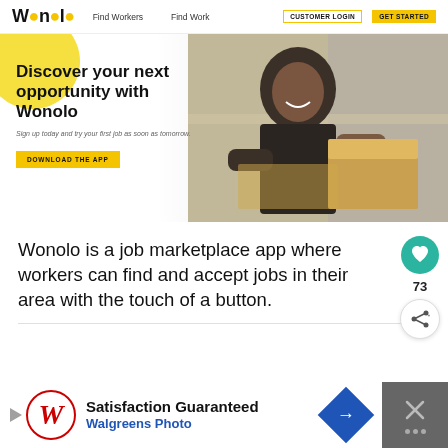Wonolo | Find Workers | Find Work | CUSTOMER LOGIN | GET STARTED
[Figure (screenshot): Wonolo website hero banner showing a smiling woman in a dark shirt leaning on boxes in a warehouse, with a yellow circle decoration, headline 'Discover your next opportunity with Wonolo', subtext 'Sign up today and try your first job as soon as tomorrow.', and a yellow 'DOWNLOAD THE APP' button.]
Wonolo is a job marketplace app where workers can find and accept jobs in their area with the touch of a button.
[Figure (infographic): Teal circular button with white heart icon (like/favorite) and count of 73, plus a white share button with circular arrows icon.]
[Figure (screenshot): Advertisement banner for Walgreens Photo with red W logo, text 'Satisfaction Guaranteed' and 'Walgreens Photo', blue diamond navigation icon, and gray close button with X.]